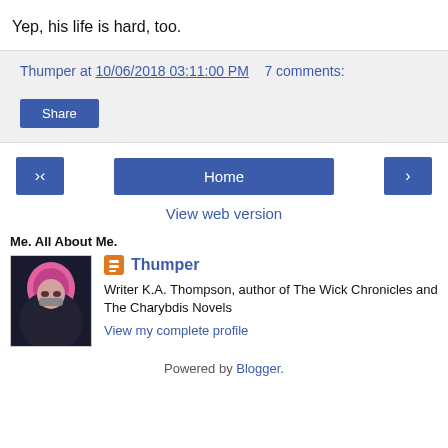Yep, his life is hard, too.
Thumper at 10/06/2018 03:11:00 PM   7 comments:
Share
‹   Home   ›
View web version
Me. All About Me.
Thumper
Writer K.A. Thompson, author of The Wick Chronicles and The Charybdis Novels
View my complete profile
Powered by Blogger.